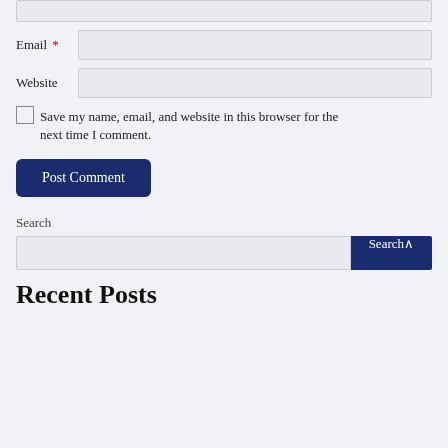Email *
Website
Save my name, email, and website in this browser for the next time I comment.
Post Comment
Search
Search
Recent Posts